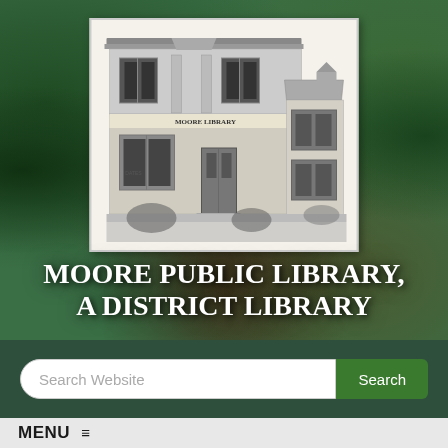[Figure (photo): Black and white sketch/photograph of a two-story brick library building with the text 'MOORE LIBRARY' on the facade, set against a green stained glass decorative background]
MOORE PUBLIC LIBRARY, A DISTRICT LIBRARY
Search Website
Search
MENU ≡